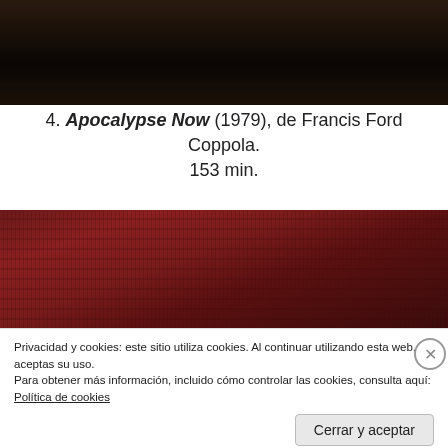[Figure (photo): Dark moody film still at the top of the page, showing a dimly lit scene with dark brown and black tones]
4. Apocalypse Now (1979), de Francis Ford Coppola. 153 min.
[Figure (photo): Film still showing a dark reddish-brown textured surface with streaks, appearing to show blood or paint on a wall]
Privacidad y cookies: este sitio utiliza cookies. Al continuar utilizando esta web, aceptas su uso.
Para obtener más información, incluido cómo controlar las cookies, consulta aquí: Política de cookies
Cerrar y aceptar